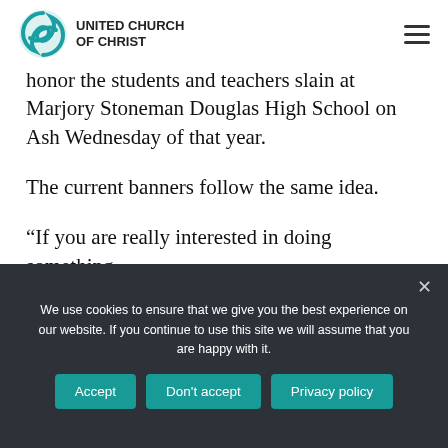UNITED CHURCH OF CHRIST
honor the students and teachers slain at Marjory Stoneman Douglas High School on Ash Wednesday of that year.
The current banners follow the same idea.
“If you are really interested in doing something
We use cookies to ensure that we give you the best experience on our website. If you continue to use this site we will assume that you are happy with it.